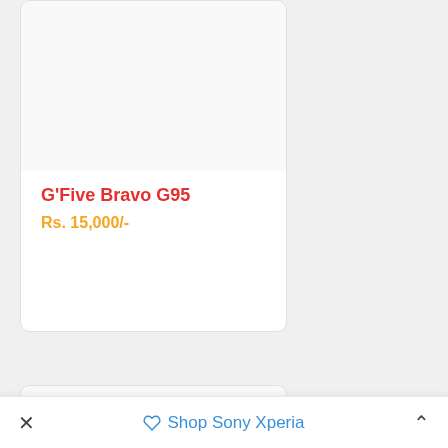G'Five Bravo G95
Rs. 15,000/-
QMobile CS1
✕  🏷 Shop Sony Xperia  ∧